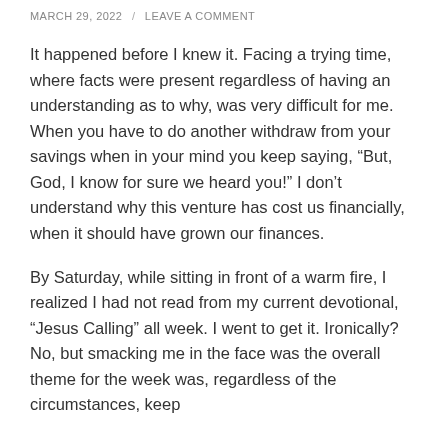MARCH 29, 2022 / LEAVE A COMMENT
It happened before I knew it. Facing a trying time, where facts were present regardless of having an understanding as to why, was very difficult for me. When you have to do another withdraw from your savings when in your mind you keep saying, “But, God, I know for sure we heard you!” I don’t understand why this venture has cost us financially, when it should have grown our finances.
By Saturday, while sitting in front of a warm fire, I realized I had not read from my current devotional, “Jesus Calling” all week. I went to get it. Ironically? No, but smacking me in the face was the overall theme for the week was, regardless of the circumstances, keep